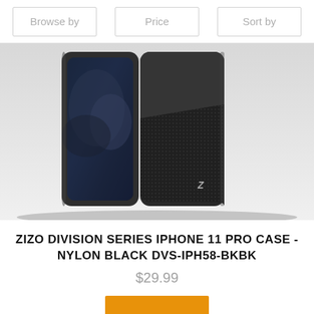Browse by
Price
Sort by
[Figure (photo): Product photo showing Zizo Division Series iPhone 11 Pro cases side by side – one showing the front with a stormy sky wallpaper, one showing the back with a split matte black top and textured nylon lower half with a small Z logo, all with a dark charcoal/black color scheme.]
ZIZO DIVISION SERIES IPHONE 11 PRO CASE - NYLON BLACK DVS-IPH58-BKBK
$29.99